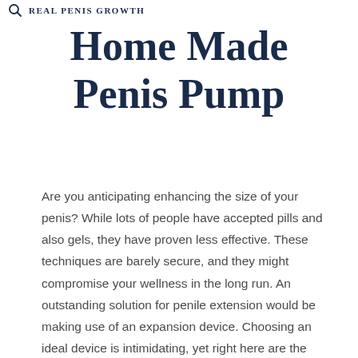REAL Penis Growth
Home Made Penis Pump
Are you anticipating enhancing the size of your penis? While lots of people have accepted pills and also gels, they have proven less effective. These techniques are barely secure, and they might compromise your wellness in the long run. An outstanding solution for penile extension would be making use of an expansion device. Choosing an ideal device is intimidating, yet right here are the